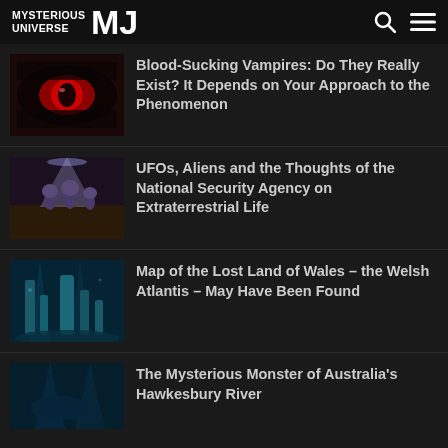MYSTERIOUS UNIVERSE MJ
Blood-Sucking Vampires: Do They Really Exist? It Depends on Your Approach to the Phenomenon
UFOs, Aliens and the Thoughts of the National Security Agency on Extraterrestrial Life
Map of the Lost Land of Wales – the Welsh Atlantis – May Have Been Found
The Mysterious Monster of Australia's Hawkesbury River